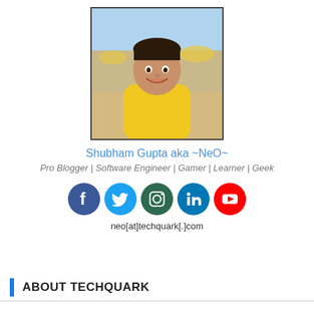[Figure (photo): Profile photo of Shubham Gupta, a young man wearing a yellow polo shirt, smiling, at a beach/outdoor setting]
Shubham Gupta aka ~NeO~
Pro Blogger | Software Engineer | Gamer | Learner | Geek
[Figure (illustration): Social media icons: Facebook, Twitter, Instagram, LinkedIn, YouTube]
neo[at]techquark[.]com
ABOUT TECHQUARK